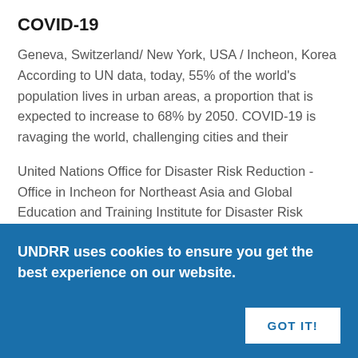COVID-19
Geneva, Switzerland/ New York, USA / Incheon, Korea According to UN data, today, 55% of the world's population lives in urban areas, a proportion that is expected to increase to 68% by 2050. COVID-19 is ravaging the world, challenging cities and their
United Nations Office for Disaster Risk Reduction - Office in Incheon for Northeast Asia and Global Education and Training Institute for Disaster Risk Reduction United Nations Office for South-South Cooperation World Health Organization Making Cities Resilient 2030 (MCR2030)
UNDRR uses cookies to ensure you get the best experience on our website.
GOT IT!